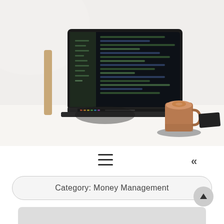[Figure (photo): A desk scene with an open laptop showing a dark code editor, a latte coffee cup on a saucer, a phone/wallet, and part of a lamp or chair in the top-left corner against a white background.]
[Figure (screenshot): Navigation bar with a hamburger menu icon centered and a double left chevron (<<) on the right side.]
Category: Money Management
[Figure (other): A grey rounded rectangle card at the bottom, partially visible.]